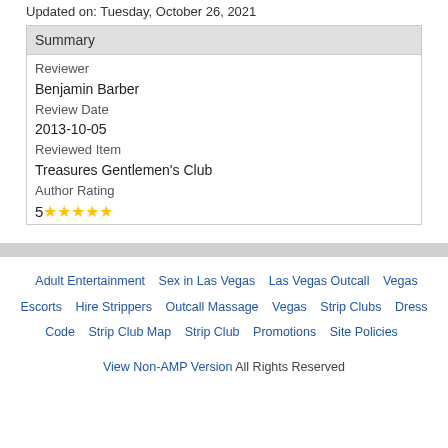Updated on: Tuesday, October 26, 2021
| Summary |
| --- |
| Reviewer |
| Benjamin Barber |
| Review Date |
| 2013-10-05 |
| Reviewed Item |
| Treasures Gentlemen's Club |
| Author Rating |
| 5★★★★★ |
Adult Entertainment   Sex in Las Vegas   Las Vegas Outcall   Vegas Escorts   Hire Strippers   Outcall Massage   Vegas Strip Clubs   Dress Code   Strip Club Map   Strip Club Promotions   Site Policies
View Non-AMP Version  All Rights Reserved